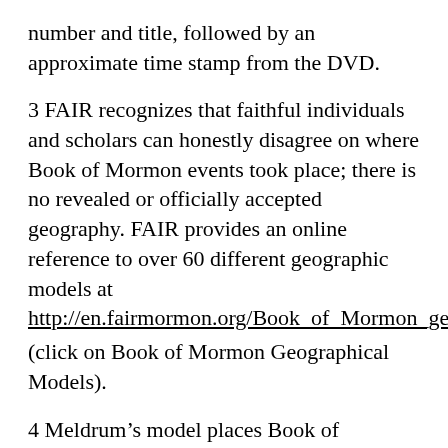number and title, followed by an approximate time stamp from the DVD.
3 FAIR recognizes that faithful individuals and scholars can honestly disagree on where Book of Mormon events took place; there is no revealed or officially accepted geography. FAIR provides an online reference to over 60 different geographic models at http://en.fairmormon.org/Book_of_Mormon_geograph [2] (click on Book of Mormon Geographical Models).
4 Meldrum’s model places Book of Mormon peoples in an area roughly covering the Atlantic seaboard to the Rocky Mountains. This name was chosen as descriptive of the general model. We recognize that Meldrum may pick a different name at some point and would invite him to do so.